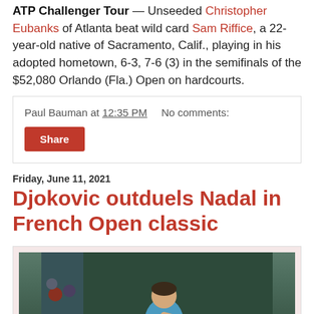ATP Challenger Tour — Unseeded Christopher Eubanks of Atlanta beat wild card Sam Riffice, a 22-year-old native of Sacramento, Calif., playing in his adopted hometown, 6-3, 7-6 (3) in the semifinals of the $52,080 Orlando (Fla.) Open on hardcourts.
Paul Bauman at 12:35 PM   No comments:
Share
Friday, June 11, 2021
Djokovic outduels Nadal in French Open classic
[Figure (photo): Tennis player (Novak Djokovic) hitting a backhand shot on a tennis court, wearing a blue shirt, with spectators in the background]